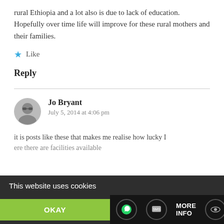rural Ethiopia and a lot also is due to lack of education. Hopefully over time life will improve for these rural mothers and their families.
Like
Reply
Jo Bryant
July 5, 2014 at 4:06 pm
it is posts like these that makes me realise how lucky I ... ere there are facilities available
This website uses cookies
OKAY
MORE INFO